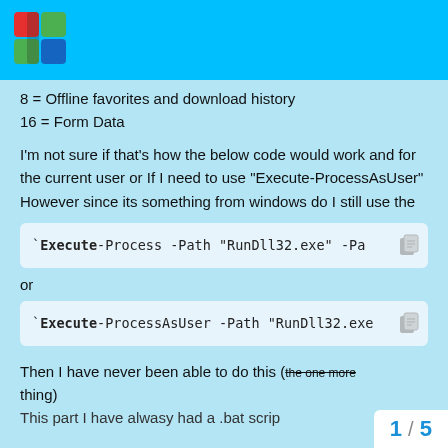8 = Offline favorites and download history
16 = Form Data
I'm not sure if that's how the below code would work and for the current user or If I need to use "Execute-ProcessAsUser" However since its something from windows do I still use the
[Figure (screenshot): Code block showing: `Execute-Process -Path "RunDll32.exe" -Pa...]
or
[Figure (screenshot): Code block showing: `Execute-ProcessAsUser -Path "RunDll32.exe...]
Then I have never been able to do this (the one more thing)
This part I have alwasy had a .bat scrip...
1 / 5